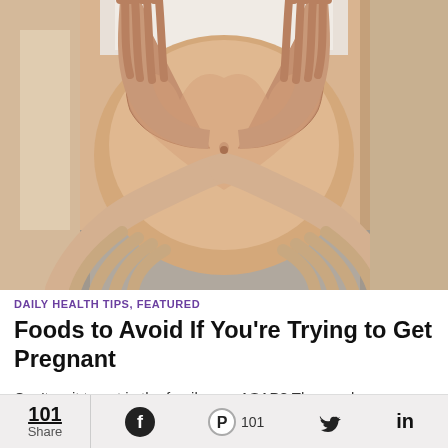[Figure (photo): Pregnant woman's belly with two pairs of hands forming a heart shape around it. Woman wearing white crop top and grey pants. Close-up photo with warm tones.]
DAILY HEALTH TIPS, FEATURED
Foods to Avoid If You're Trying to Get Pregnant
Can't wait to get in the family way ASAP? Then make sure
101 Share  [Facebook]  [Pinterest] 101  [Twitter]  in